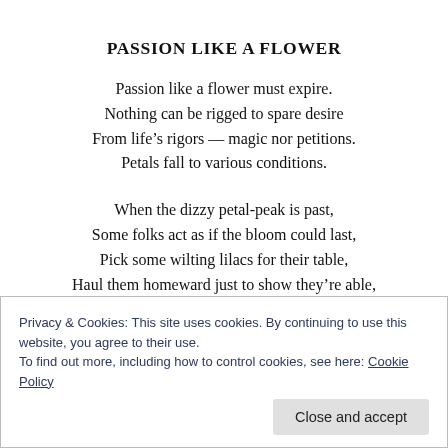PASSION LIKE A FLOWER
Passion like a flower must expire.
Nothing can be rigged to spare desire
From life’s rigors — magic nor petitions.
Petals fall to various conditions.
When the dizzy petal-peak is past,
Some folks act as if the bloom could last,
Pick some wilting lilacs for their table,
Haul them homeward just to show they’re able,
Privacy & Cookies: This site uses cookies. By continuing to use this website, you agree to their use.
To find out more, including how to control cookies, see here: Cookie Policy
Close and accept